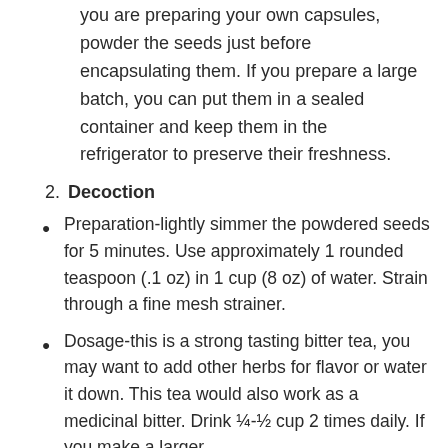you are preparing your own capsules, powder the seeds just before encapsulating them. If you prepare a large batch, you can put them in a sealed container and keep them in the refrigerator to preserve their freshness.
2. Decoction
Preparation-lightly simmer the powdered seeds for 5 minutes. Use approximately 1 rounded teaspoon (.1 oz) in 1 cup (8 oz) of water. Strain through a fine mesh strainer.
Dosage-this is a strong tasting bitter tea, you may want to add other herbs for flavor or water it down. This tea would also work as a medicinal bitter. Drink ¼-½ cup 2 times daily. If you make a larger